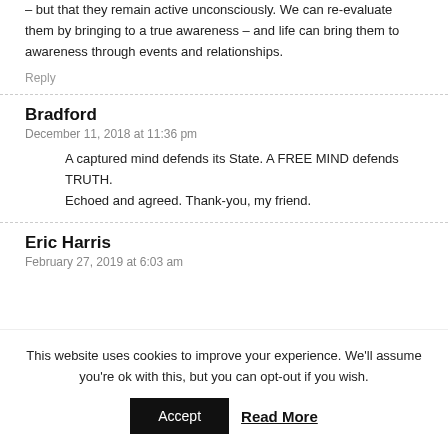– but that they remain active unconsciously. We can re-evaluate them by bringing to a true awareness – and life can bring them to awareness through events and relationships.
Reply
Bradford
December 11, 2018 at 11:36 pm
A captured mind defends its State. A FREE MIND defends TRUTH.
Echoed and agreed. Thank-you, my friend.
Eric Harris
February 27, 2019 at 6:03 am
This website uses cookies to improve your experience. We'll assume you're ok with this, but you can opt-out if you wish.
Accept
Read More